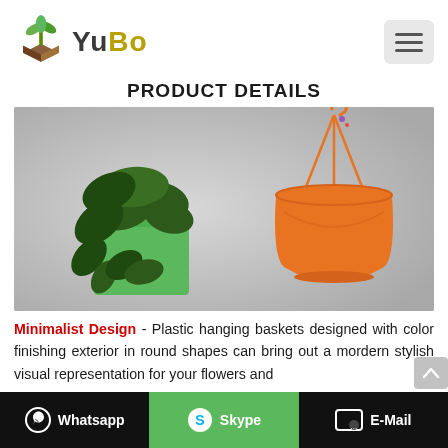YuBo logo and navigation menu
PRODUCT DETAILS
[Figure (photo): Orange plastic hanging basket with wire hanger and hook shown beside a green plant with trailing ivy leaves in an orange/green square pot, photographed against a grey background.]
Minimalist Design - Plastic hanging baskets designed with color finishing exterior in round shapes can bring out a mordern stylish visual representation for your flowers and
Whatsapp   Skype   E-Mail